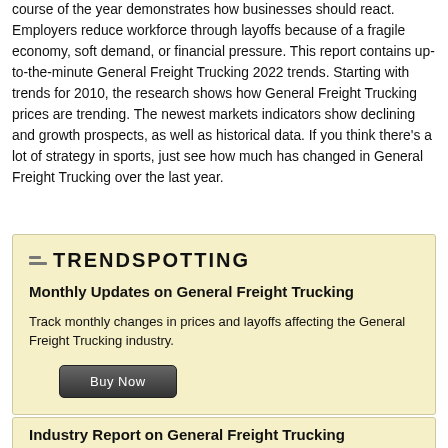course of the year demonstrates how businesses should react. Employers reduce workforce through layoffs because of a fragile economy, soft demand, or financial pressure. This report contains up-to-the-minute General Freight Trucking 2022 trends. Starting with trends for 2010, the research shows how General Freight Trucking prices are trending. The newest markets indicators show declining and growth prospects, as well as historical data. If you think there's a lot of strategy in sports, just see how much has changed in General Freight Trucking over the last year.
[Figure (other): Trendspotting promotional box with logo, title 'Monthly Updates on General Freight Trucking', descriptive text, and a 'Buy Now' button. Yellow/cream background.]
Industry Report on General Freight Trucking